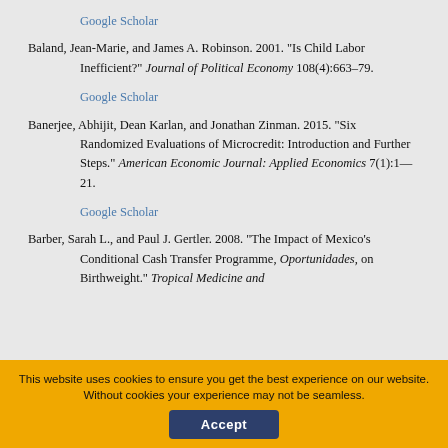Google Scholar
Baland, Jean-Marie, and James A. Robinson. 2001. "Is Child Labor Inefficient?" Journal of Political Economy 108(4):663–79.
Google Scholar
Banerjee, Abhijit, Dean Karlan, and Jonathan Zinman. 2015. "Six Randomized Evaluations of Microcredit: Introduction and Further Steps." American Economic Journal: Applied Economics 7(1):1—21.
Google Scholar
Barber, Sarah L., and Paul J. Gertler. 2008. "The Impact of Mexico's Conditional Cash Transfer Programme, Oportunidades, on Birthweight." Tropical Medicine and
This website uses cookies to ensure you get the best experience on our website. Without cookies your experience may not be seamless.